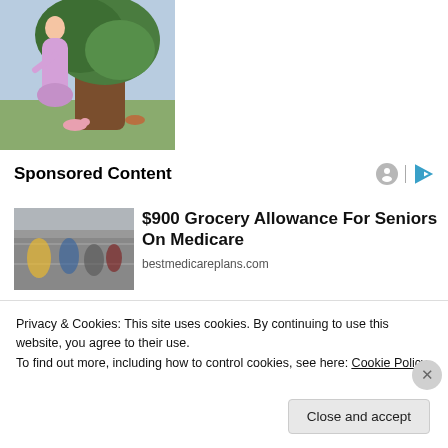[Figure (illustration): Painting of a woman in a purple/pink flowing dress standing next to a large tree with brown trunk, colorful landscape background]
Sponsored Content
[Figure (photo): Thumbnail photo of a grocery store interior with shoppers]
$900 Grocery Allowance For Seniors On Medicare
bestmedicareplans.com
Privacy & Cookies: This site uses cookies. By continuing to use this website, you agree to their use.
To find out more, including how to control cookies, see here: Cookie Policy
Close and accept